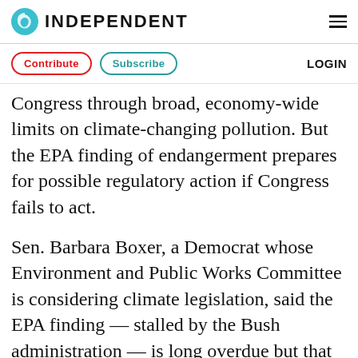INDEPENDENT
Contribute   Subscribe   LOGIN
Congress through broad, economy-wide limits on climate-changing pollution. But the EPA finding of endangerment prepares for possible regulatory action if Congress fails to act.
Sen. Barbara Boxer, a Democrat whose Environment and Public Works Committee is considering climate legislation, said the EPA finding — stalled by the Bush administration — is long overdue but that "the best and most flexible way" to deal with the problem is for Congress to take action on a broader approac